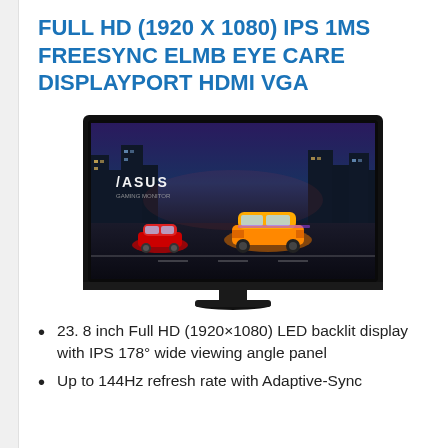FULL HD (1920 X 1080) IPS 1MS FREESYNC ELMB EYE CARE DISPLAYPORT HDMI VGA
[Figure (photo): ASUS gaming monitor displaying racing cars on screen, shown from front view with stand, black bezel]
23. 8 inch Full HD (1920×1080) LED backlit display with IPS 178° wide viewing angle panel
Up to 144Hz refresh rate with Adaptive-Sync